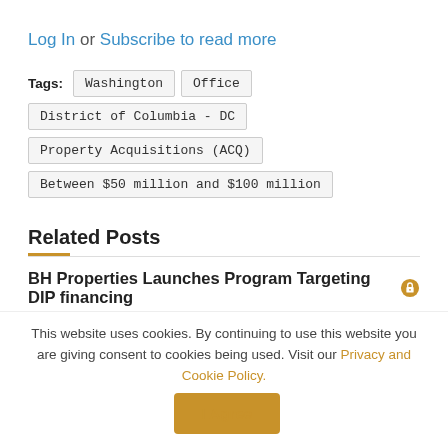Log In or Subscribe to read more
Tags: Washington  Office  District of Columbia - DC  Property Acquisitions (ACQ)  Between $50 million and $100 million
Related Posts
BH Properties Launches Program Targeting DIP financing
July 22, 2020 in GENERAL NEWS
Industrial Property Trust Sells Remaining Portfolio for $301Mln
This website uses cookies. By continuing to use this website you are giving consent to cookies being used. Visit our Privacy and Cookie Policy.